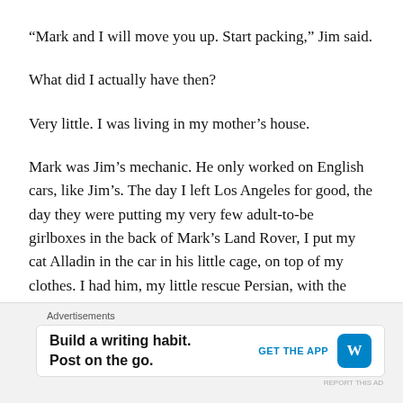“Mark and I will move you up. Start packing,” Jim said.
What did I actually have then?
Very little. I was living in my mother’s house.
Mark was Jim’s mechanic. He only worked on English cars, like Jim’s. The day I left Los Angeles for good, the day they were putting my very few adult-to-be girlboxes in the back of Mark’s Land Rover, I put my cat Alladin in the car in his little cage, on top of my clothes. I had him, my little rescue Persian, with the watery magnificent eyes. So, I had the most
Advertisements
Build a writing habit. Post on the go.
GET THE APP